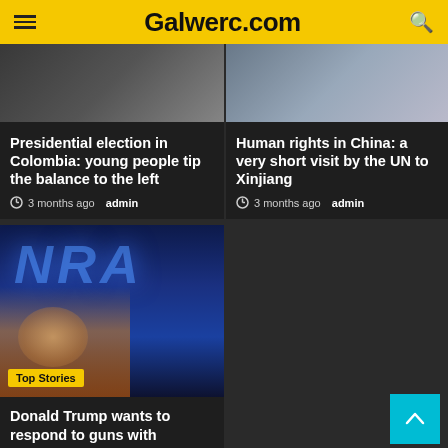Galwerc.com
[Figure (photo): Photo thumbnail for Colombia election article]
Presidential election in Colombia: young people tip the balance to the left
3 months ago admin
[Figure (photo): Photo thumbnail for Human rights China article]
Human rights in China: a very short visit by the UN to Xinjiang
3 months ago admin
[Figure (photo): NRA sign with Trump figure below, labeled Top Stories]
Donald Trump wants to respond to guns with